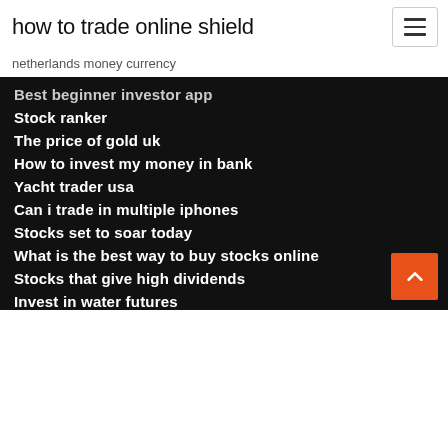how to trade online shield
netherlands money currency
Best beginner investor app
Stock ranker
The price of gold uk
How to invest my money in bank
Yacht trader usa
Can i trade in multiple iphones
Stocks set to soar today
What is the best way to buy stocks online
Stocks that give high dividends
Invest in water futures